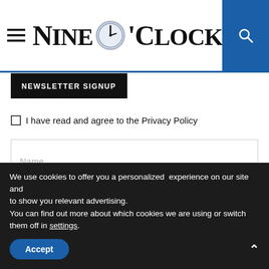Nine O'Clock — navigation header with hamburger menu and search button
NEWSLETTER SIGNUP
I have read and agree to the Privacy Policy
Name...
Email...
SUBSCRIBE
We use cookies to offer you a personalized experience on our site and to show you relevant advertising. You can find out more about which cookies we are using or switch them off in settings.
Accept